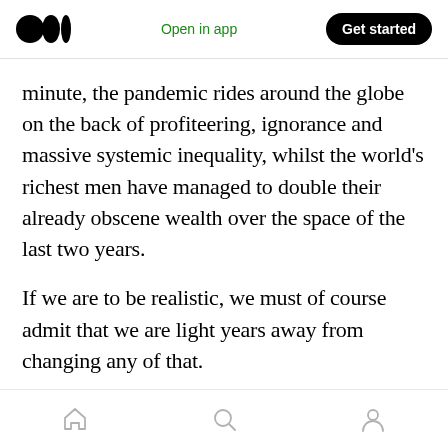Medium logo | Open in app | Get started
minute, the pandemic rides around the globe on the back of profiteering, ignorance and massive systemic inequality, whilst the world’s richest men have managed to double their already obscene wealth over the space of the last two years.
If we are to be realistic, we must of course admit that we are light years away from changing any of that.
But what a wearisome phrase “being realistic” is!
Home | Search | Profile